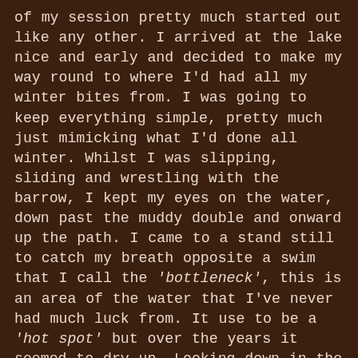of my session pretty much started out like any other. I arrived at the lake nice and early and decided to make my way round to where I'd had all my winter bites from. I was going to keep everything simple, pretty much just mimicking what I'd done all winter. Whilst I was slipping, sliding and wrestling with the barrow, I kept my eyes on the water, down past the muddy double and onward up the path. I came to a stand still to catch my breath opposite a swim that I call the 'bottleneck', this is an area of the water that I've never had much luck from. It use to be a 'hot spot' but over the years it seemed to dry up. Looking down in the edge there appeared to be several patches of silt that had clearly been kicked up. The water had both the look and consistency of soup, milky looking bubbles still lingered on the surface. Carp had definitely been feeding there, after